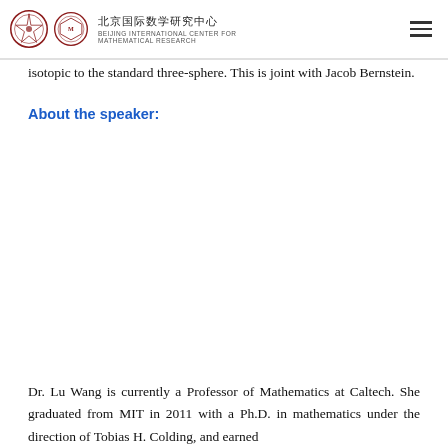北京国际数学研究中心 BEIJING INTERNATIONAL CENTER FOR MATHEMATICAL RESEARCH
isotopic to the standard three-sphere. This is joint with Jacob Bernstein.
About the speaker:
Dr. Lu Wang is currently a Professor of Mathematics at Caltech. She graduated from MIT in 2011 with a Ph.D. in mathematics under the direction of Tobias H. Colding, and earned